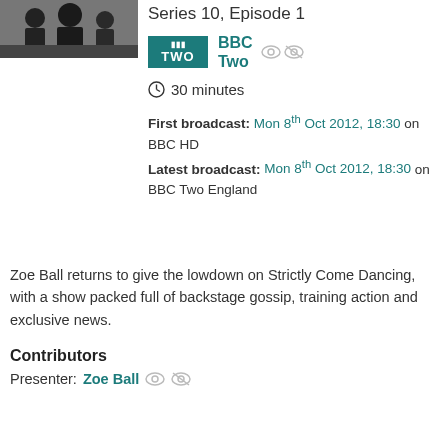[Figure (photo): Thumbnail photo of a TV show scene with people]
Series 10, Episode 1
BBC Two
30 minutes
First broadcast: Mon 8th Oct 2012, 18:30 on BBC HD
Latest broadcast: Mon 8th Oct 2012, 18:30 on BBC Two England
Zoe Ball returns to give the lowdown on Strictly Come Dancing, with a show packed full of backstage gossip, training action and exclusive news.
Contributors
Presenter: Zoe Ball